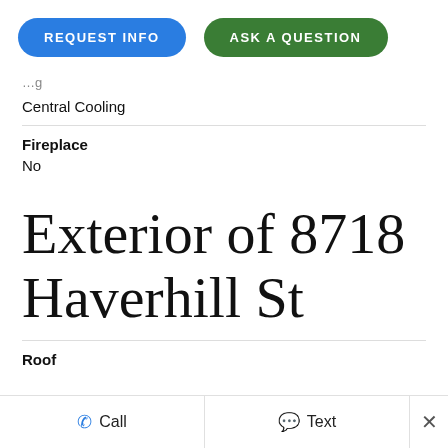[Figure (other): Two pill-shaped buttons: blue 'REQUEST INFO' and green 'ASK A QUESTION']
Central Cooling
Fireplace
No
Exterior of 8718 Haverhill St
Roof
Call   Text   ×